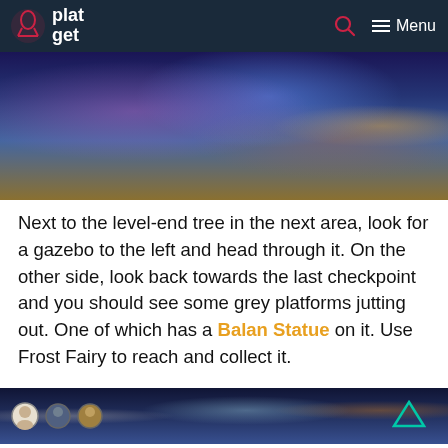plat get — Menu
[Figure (screenshot): Game screenshot showing colorful characters on a blue/purple fantasy floor with pink and orange creatures]
Next to the level-end tree in the next area, look for a gazebo to the left and head through it. On the other side, look back towards the last checkpoint and you should see some grey platforms jutting out. One of which has a Balan Statue on it. Use Frost Fairy to reach and collect it.
[Figure (screenshot): Game screenshot showing character avatars at bottom left and a triangle button icon at right, blue/purple snowy environment]